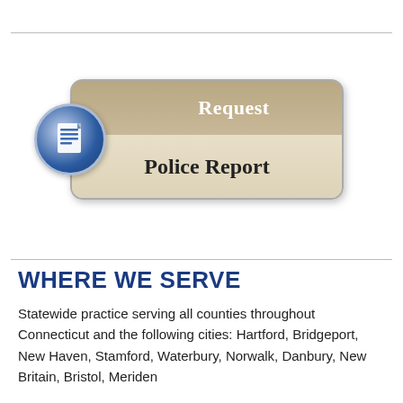[Figure (other): A button graphic labeled 'Request Police Report' with a document icon in a blue circle on the left, a tan/gold top section with white 'Request' text, and a beige lower section with bold 'Police Report' text.]
WHERE WE SERVE
Statewide practice serving all counties throughout Connecticut and the following cities: Hartford, Bridgeport, New Haven, Stamford, Waterbury, Norwalk, Danbury, New Britain, Bristol, Meriden